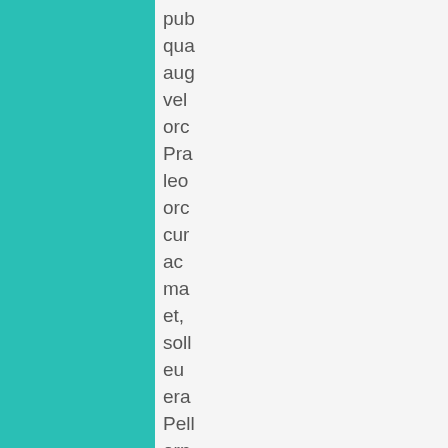pub
qua
aug
vel
orc
Pra
leo
orc
cur
ac
ma
et,
soll
eu
era
Pell
orn
mi
vita
sen